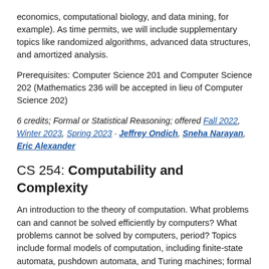economics, computational biology, and data mining, for example). As time permits, we will include supplementary topics like randomized algorithms, advanced data structures, and amortized analysis.
Prerequisites: Computer Science 201 and Computer Science 202 (Mathematics 236 will be accepted in lieu of Computer Science 202)
6 credits; Formal or Statistical Reasoning; offered Fall 2022, Winter 2023, Spring 2023 · Jeffrey Ondich, Sneha Narayan, Eric Alexander
CS 254: Computability and Complexity
An introduction to the theory of computation. What problems can and cannot be solved efficiently by computers? What problems cannot be solved by computers, period? Topics include formal models of computation, including finite-state automata, pushdown automata, and Turing machines; formal